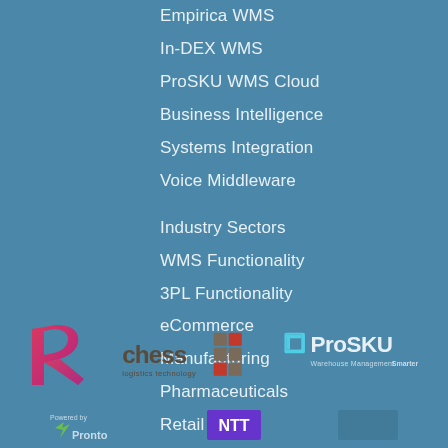Empirica WMS
In-DEX WMS
ProSKU WMS Cloud
Business Intelligence
Systems Integration
Voice Middleware
Industry Sectors
WMS Functionality
3PL Functionality
eCommerce
Manufacturing
Pharmaceuticals
Retail
Wholesale & Distribution
[Figure (logo): Pink/magenta stylized P logo]
[Figure (logo): Chess logistics technology logo with colored squares grid]
[Figure (logo): ProSKU Warehouse Management Smarter logo with cyan square bracket icon]
[Figure (logo): Powered by Pronto logo (partial)]
[Figure (logo): NTT logo (partial, purple background)]
[Figure (logo): Partially visible logo bottom right]